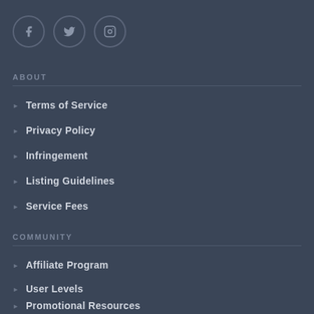[Figure (other): Social media icons: Facebook, Twitter, Instagram in circular bordered buttons]
ABOUT
Terms of Service
Privacy Policy
Infringement
Listing Guidelines
Service Fees
COMMUNITY
Affiliate Program
User Levels
Promotional Resources